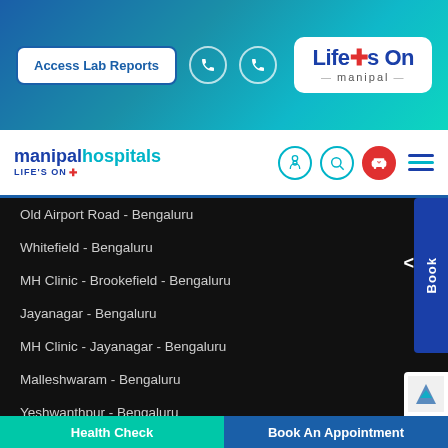[Figure (screenshot): Manipal Hospitals website top banner with Access Lab Reports button, phone icons, and Life's On Manipal logo on teal/blue gradient background]
[Figure (logo): Manipal Hospitals navigation bar with logo, microphone, search, ambulance, and hamburger menu icons]
Old Airport Road - Bengaluru
Whitefield - Bengaluru
MH Clinic - Brookefield - Bengaluru
Jayanagar - Bengaluru
MH Clinic - Jayanagar - Bengaluru
Malleshwaram - Bengaluru
Yeshwanthpur - Bengaluru
Hebbal - Bengaluru
Varthur Road, Whitefield - Bengaluru
Health Check
Book An Appointment